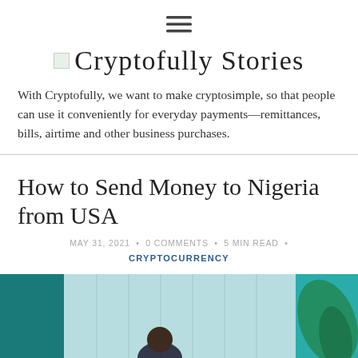[Figure (other): Hamburger menu icon (three horizontal lines) centered at top]
Cryptofully Stories
With Cryptofully, we want to make cryptosimple, so that people can use it conveniently for everyday payments—remittances, bills, airtime and other business purchases.
How to Send Money to Nigeria from USA
MAY 31, 2021 • 0 COMMENTS • 5 MIN READ • CRYPTOCURRENCY
[Figure (photo): Photo of a person sitting at a desk with teal/green background and a monstera plant leaf visible on the right side]